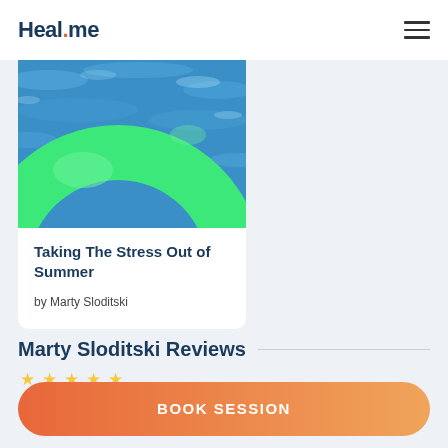Heal.me
[Figure (photo): Photo of a green inflatable pool float ring in blue water]
Taking The Stress Out of Summer
by Marty Sloditski
Marty Sloditski Reviews
★ ★ ★ ★ ★